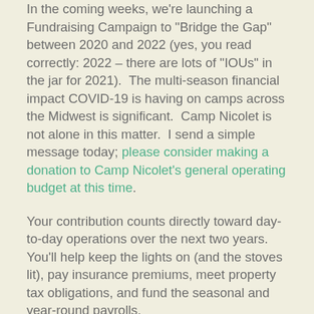In the coming weeks, we're launching a Fundraising Campaign to "Bridge the Gap" between 2020 and 2022 (yes, you read correctly: 2022 – there are lots of "IOUs" in the jar for 2021).  The multi-season financial impact COVID-19 is having on camps across the Midwest is significant.  Camp Nicolet is not alone in this matter.  I send a simple message today; please consider making a donation to Camp Nicolet's general operating budget at this time.
Your contribution counts directly toward day-to-day operations over the next two years.  You'll help keep the lights on (and the stoves lit), pay insurance premiums, meet property tax obligations, and fund the seasonal and year-round payrolls.